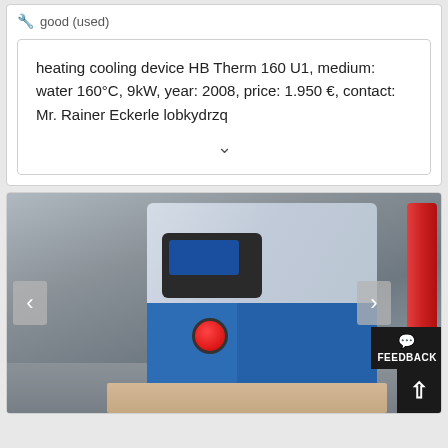good (used)
heating cooling device HB Therm 160 U1, medium: water 160°C, 9kW, year: 2008, price: 1.950 €, contact: Mr. Rainer Eckerle lobkydrzq
[Figure (photo): Photo of a heating/cooling device (HB Therm 160 U1), a blue and white industrial machine with a control panel and red emergency stop button, placed on a wooden pallet in a warehouse/industrial setting. Navigation arrows and feedback button overlay the image.]